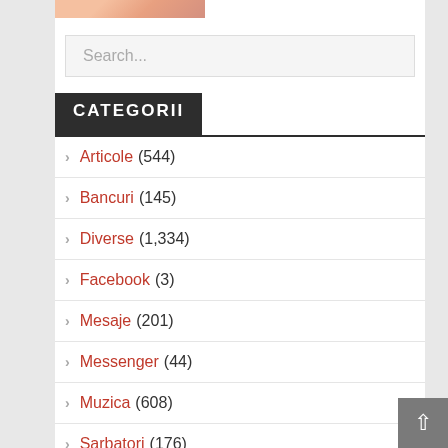[Figure (photo): Partial photo thumbnail at top of sidebar]
Search...
CATEGORII
Articole (544)
Bancuri (145)
Diverse (1,334)
Facebook (3)
Mesaje (201)
Messenger (44)
Muzica (608)
Sarbatori (176)
sex (41)